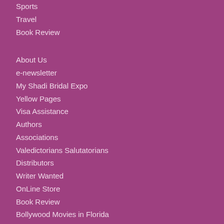Sports
Travel
Book Review
About Us
e-newsletter
My Shadi Bridal Expo
Yellow Pages
Visa Assistance
Authors
Associations
Valedictorians Salutatorians
Distributors
Writer Wanted
OnLine Store
Book Review
Bollywood Movies in Florida
Bollywood Movies in Atlanta
Sign Up Newsletter